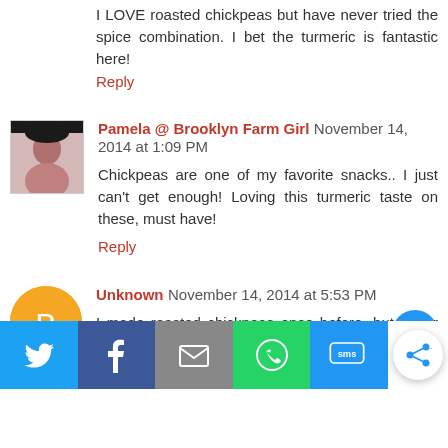I LOVE roasted chickpeas but have never tried the spice combination. I bet the turmeric is fantastic here!
Reply
Pamela @ Brooklyn Farm Girl November 14, 2014 at 1:09 PM
Chickpeas are one of my favorite snacks.. I just can't get enough! Loving this turmeric taste on these, must have!
Reply
Unknown November 14, 2014 at 5:53 PM
I made roasted chickpeas once before, but never with tumeric. Great idea!
Reply
[Figure (infographic): Social share bar with Twitter, Facebook, Email, WhatsApp, SMS buttons and a round share button]